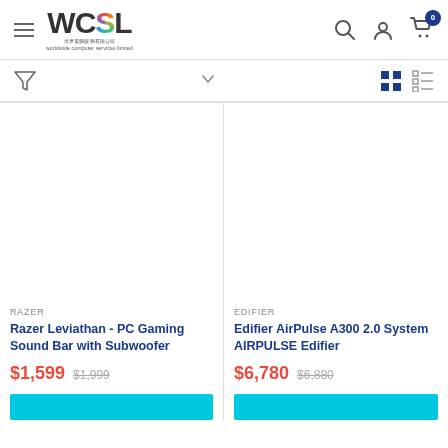WCSL header with hamburger menu, logo, search, account, and cart icons
[Figure (screenshot): Filter toolbar with funnel icon, dropdown chevron, grid view and list view icons]
[Figure (photo): Product image placeholder for Razer Leviathan PC Gaming Sound Bar]
RAZER
Razer Leviathan - PC Gaming Sound Bar with Subwoofer
$1,599  $1,999
[Figure (photo): Product image placeholder for Edifier AirPulse A300 2.0 System]
EDIFIER
Edifier AirPulse A300 2.0 System AIRPULSE Edifier
$6,780  $6,880